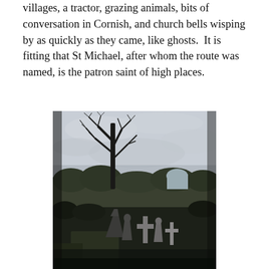villages, a tractor, grazing animals, bits of conversation in Cornish, and church bells wisping by as quickly as they came, like ghosts.  It is fitting that St Michael, after whom the route was named, is the patron saint of high places.
[Figure (photo): A dark, atmospheric photograph of a churchyard or graveyard. In the foreground are several stone grave markers and crosses. A large bare-branched tree dominates the left-centre of the image, silhouetted against an overcast, pale grey sky. In the background are dark hedgerows and shrubs.]